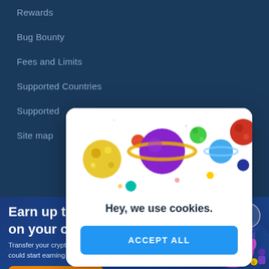Rewards
Bug Bounty
Fees and Limits
Supported Countries
Supported
Site map
[Figure (screenshot): Cookie consent modal dialog with colorful planet illustrations at top, text 'Hey, we use cookies.' and a blue 'ACCEPT ALL' button]
Earn up to 17% on your crypto
Transfer your crypto to KriptoEarn and you could start earning up to 17% APY in seconds.
Start earning today